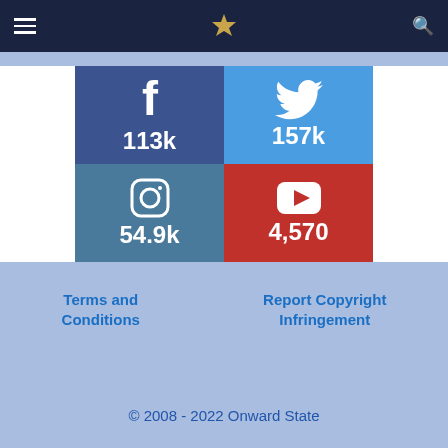Onward State
[Figure (infographic): Social media follower counts: Facebook 113k, Twitter 157k, Instagram 54.9k, YouTube 4,570]
Terms and Conditions
Report Copyright Infringement
© 2008 - 2022 Onward State